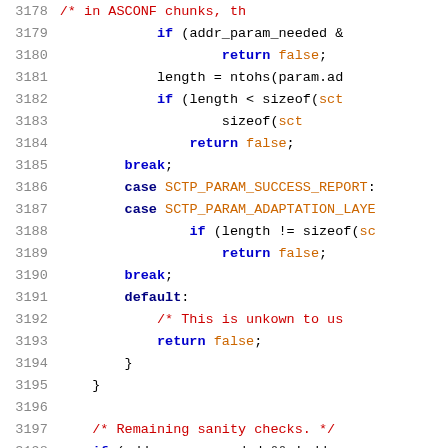[Figure (screenshot): Source code listing showing lines 3178-3199 of a C program dealing with SCTP parameter validation. Line numbers appear in gray on the left. Code uses syntax highlighting: keywords in blue/bold, comments in red, identifiers/constants in orange.]